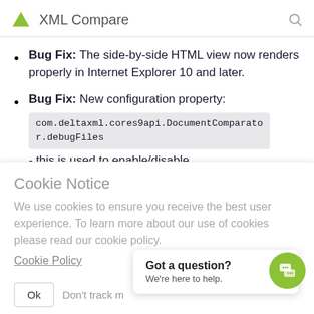XML Compare
Bug Fix: The side-by-side HTML view now renders properly in Internet Explorer 10 and later.
Bug Fix: New configuration property: com.deltaxml.cores9api.DocumentComparator.debugFiles - this is used to enable/disable
Cookie Notice
We use cookies to ensure you receive the best user experience. To learn more about our use of cookies please read our cookie policy.
Cookie Policy
Ok
Don't track m
Got a question? We're here to help.